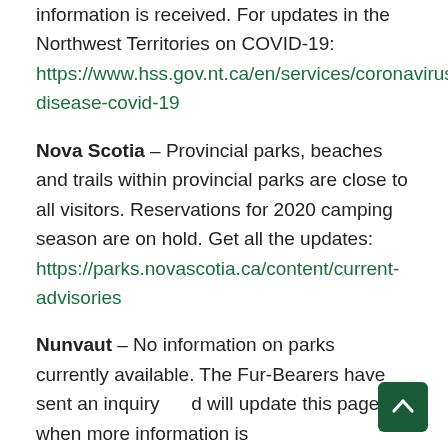information is received. For updates in the Northwest Territories on COVID-19: https://www.hss.gov.nt.ca/en/services/coronavirus-disease-covid-19
Nova Scotia – Provincial parks, beaches and trails within provincial parks are close to all visitors. Reservations for 2020 camping season are on hold. Get all the updates: https://parks.novascotia.ca/content/current-advisories
Nunvaut – No information on parks currently available. The Fur-Bearers have sent an inquiry and will update this page when more information is